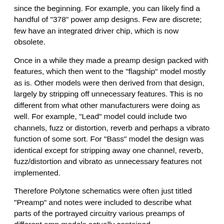since the beginning. For example, you can likely find a handful of "378" power amp designs. Few are discrete; few have an integrated driver chip, which is now obsolete.
Once in a while they made a preamp design packed with features, which then went to the "flagship" model mostly as is. Other models were then derived from that design, largely by stripping off unnecessary features. This is no different from what other manufacturers were doing as well. For example, "Lead" model could include two channels, fuzz or distortion, reverb and perhaps a vibrato function of some sort. For "Bass" model the design was identical except for stripping away one channel, reverb, fuzz/distortion and vibrato as unnecessary features not implemented.
Therefore Polytone schematics were often just titled "Preamp" and notes were included to describe what parts of the portrayed circuitry various preamps of different amp models actually contained.
For example, this preamp schematic applies to Mini Brute models 1 – 4, Brute models 1 – 3, and Mega Brute and Mega Brain models.
http://...